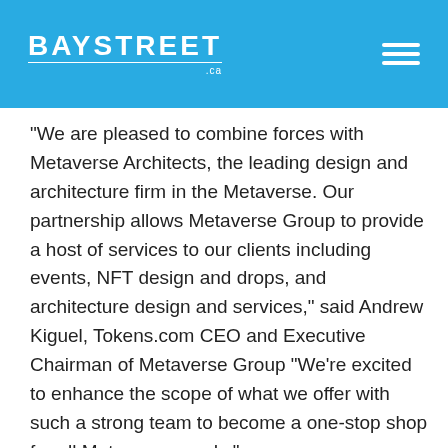BAYSTREET .ca
"We are pleased to combine forces with Metaverse Architects, the leading design and architecture firm in the Metaverse. Our partnership allows Metaverse Group to provide a host of services to our clients including events, NFT design and drops, and architecture design and services," said Andrew Kiguel, Tokens.com CEO and Executive Chairman of Metaverse Group “We’re excited to enhance the scope of what we offer with such a strong team to become a one-stop shop for all Metaverse needs."
Metaverse Architects is currently in the process of completing the Tokens.com Tower in Decentraland's Crypto Valley. The Tower will be used to host future crypto conferences and offer office rental spaces to companies looking for a presence in the Metaverse. Parties interested